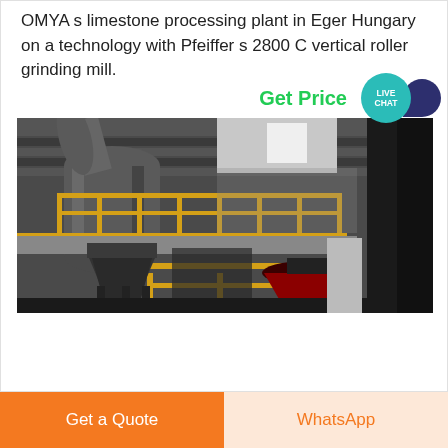OMYA s limestone processing plant in Eger Hungary on a technology with Pfeiffer s 2800 C vertical roller grinding mill.
Get Price
[Figure (photo): Industrial grinding mill facility interior showing large cylindrical equipment, yellow safety railings on elevated platform, and machinery components in a dark industrial setting.]
Get a Quote
WhatsApp